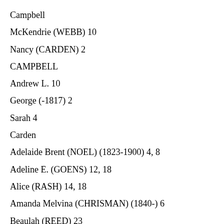Campbell
McKendrie (WEBB) 10
Nancy (CARDEN) 2
CAMPBELL
Andrew L. 10
George (-1817) 2
Sarah 4
Carden
Adelaide Brent (NOEL) (1823-1900) 4, 8
Adeline E. (GOENS) 12, 18
Alice (RASH) 14, 18
Amanda Melvina (CHRISMAN) (1840-) 6
Beaulah (REED) 23